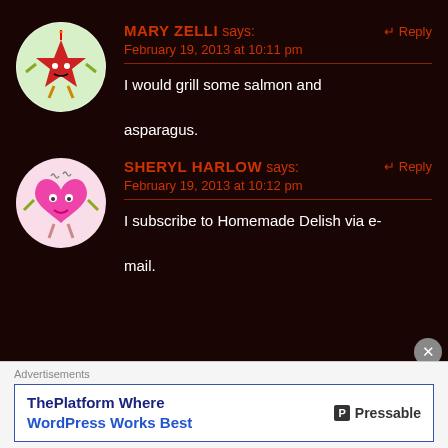[Figure (illustration): Circular avatar of a cartoon red star character with arms and legs, wearing a unicorn horn, on a light green background]
MARY ZELLI says:
↵ Reply
February 19, 2013 at 10:11 pm
I would grill some salmon and asparagus.
[Figure (illustration): Circular avatar of a cartoon pink heart character with arms, legs, and googly eyes, on a light pink background]
SHERYL HARLOW says:
↵ Reply
February 19, 2013 at 10:12 pm
I subscribe to Homemade Delish via e-mail.
Advertisements
ThePlatform Where WordPress Works Best